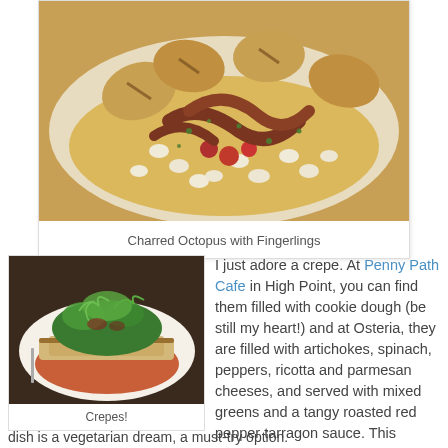[Figure (photo): Close-up photo of charred octopus with fingerling potatoes, white beans, and cherry tomatoes on a white plate with herb garnish]
Charred Octopus with Fingerlings
[Figure (photo): Photo of a crepe dish with mixed greens salad on top, served on a white plate with orange-red roasted pepper sauce]
Crepes!
I just adore a crepe. At Penny Path Cafe in High Point, you can find them filled with cookie dough (be still my heart!) and at Osteria, they are filled with artichokes, spinach, peppers, ricotta and parmesan cheeses, and served with mixed greens and a tangy roasted red pepper tarragon sauce. This dish is a vegetarian dream, a must-try option.